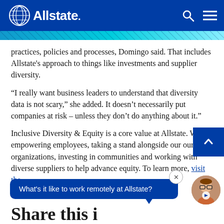Allstate
practices, policies and processes, Domingo said. That includes Allstate's approach to things like investments and supplier diversity.
“I really want business leaders to understand that diversity data is not scary,” she added. It doesn’t necessarily put companies at risk – unless they don’t do anything about it.”
Inclusive Diversity & Equity is a core value at Allstate. We’re empowering employees, taking a stand alongside our our peer organizations, investing in communities and working with diverse suppliers to help advance equity. To learn more, visit the
What's it like to work remotely at Allstate?
Share this i